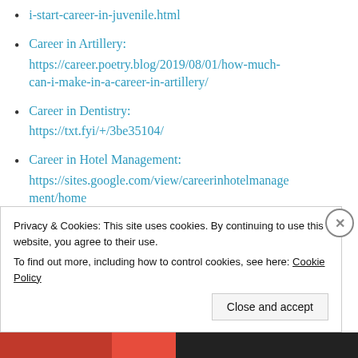i-start-career-in-juvenile.html
Career in Artillery:
https://career.poetry.blog/2019/08/01/how-much-can-i-make-in-a-career-in-artillery/
Career in Dentistry:
https://txt.fyi/+/3be35104/
Career in Hotel Management:
https://sites.google.com/view/careerinhotelmanagement/home
Career in Lifestyle Journalism:
Privacy & Cookies: This site uses cookies. By continuing to use this website, you agree to their use.
To find out more, including how to control cookies, see here: Cookie Policy
Close and accept